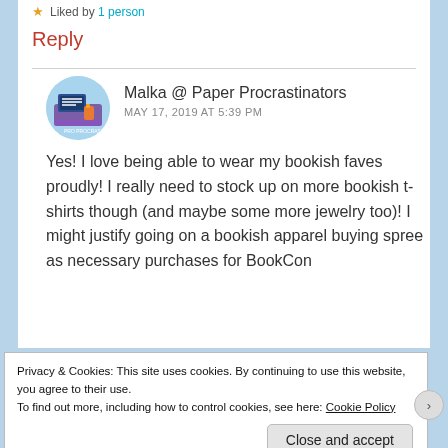Liked by 1 person
Reply
Malka @ Paper Procrastinators
MAY 17, 2019 AT 5:39 PM
Yes! I love being able to wear my bookish faves proudly! I really need to stock up on more bookish t-shirts though (and maybe some more jewelry too)! I might justify going on a bookish apparel buying spree as necessary purchases for BookCon
Privacy & Cookies: This site uses cookies. By continuing to use this website, you agree to their use.
To find out more, including how to control cookies, see here: Cookie Policy
Close and accept